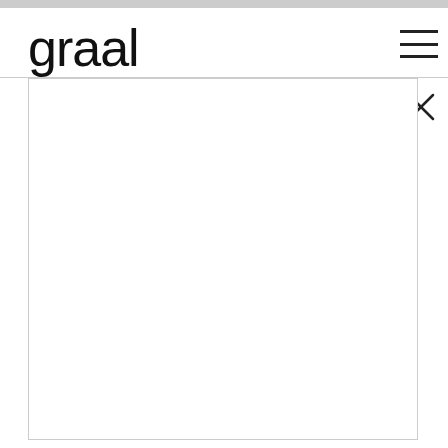graal
[Figure (screenshot): Website navigation header showing 'graal' logo on the left, a hamburger menu icon (three horizontal lines) on the right, and below it an X (close) button. Below the header is a large blank white content area bordered by a light gray rectangle.]